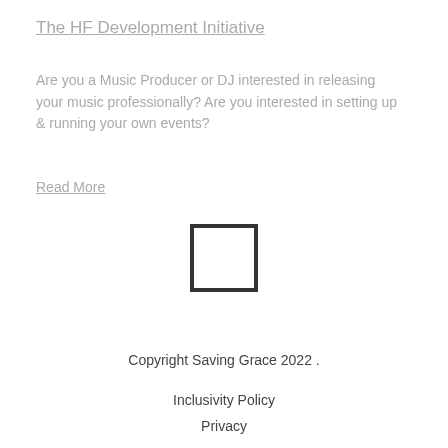The HF Development Initiative
Are you a Music Producer or DJ interested in releasing your music professionally? Are you interested in setting up & running your own events?
Read More
[Figure (other): Small square outline/box icon centered on page]
Copyright Saving Grace 2022 .
Inclusivity Policy
Privacy